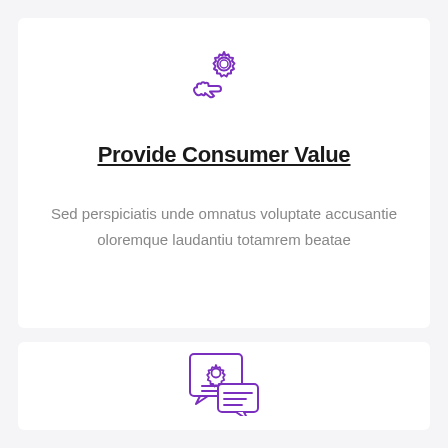[Figure (illustration): Purple outline icon of a hand holding a gear/cog, representing service or value delivery]
Provide Consumer Value
Sed perspiciatis unde omnatus voluptate accusantie oloremque laudantiu totamrem beatae
[Figure (illustration): Purple outline icon of a chat bubble containing a gear/cog with lines below, representing technical support or settings dialog]